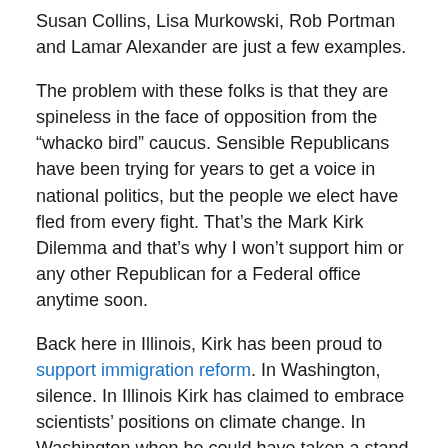Susan Collins, Lisa Murkowski, Rob Portman and Lamar Alexander are just a few examples.
The problem with these folks is that they are spineless in the face of opposition from the “whacko bird” caucus. Sensible Republicans have been trying for years to get a voice in national politics, but the people we elect have fled from every fight. That’s the Mark Kirk Dilemma and that’s why I won’t support him or any other Republican for a Federal office anytime soon.
Back here in Illinois, Kirk has been proud to support immigration reform. In Washington, silence. In Illinois Kirk has claimed to embrace scientists’ positions on climate change. In Washington when he could have taken a stand that mattered, he has hedged.